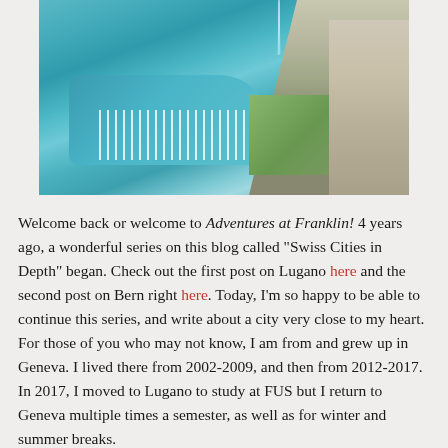[Figure (photo): Aerial photograph of Geneva, Switzerland showing Lake Geneva with the Jet d'Eau fountain, a marina with boats, the lakefront promenade, green parks, and city buildings on the right side.]
Welcome back or welcome to Adventures at Franklin! 4 years ago, a wonderful series on this blog called "Swiss Cities in Depth" began. Check out the first post on Lugano here and the second post on Bern right here. Today, I'm so happy to be able to continue this series, and write about a city very close to my heart. For those of you who may not know, I am from and grew up in Geneva. I lived there from 2002-2009, and then from 2012-2017. In 2017, I moved to Lugano to study at FUS but I return to Geneva multiple times a semester, as well as for winter and summer breaks.
I also chose to write this post because usually around this time of year, the "FUS visits Romandie" or "Swiss Bus Tour" happens, and